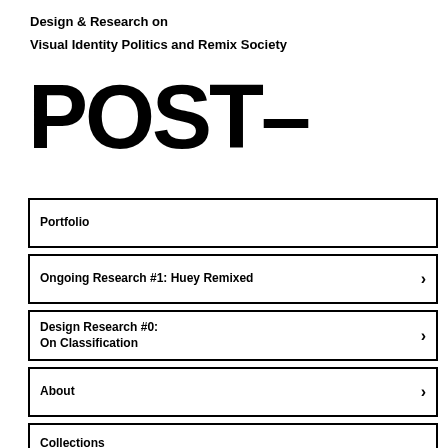Design & Research on
Visual Identity Politics and Remix Society
POST-
Portfolio
Ongoing Research #1: Huey Remixed
Design Research #0:
On Classification
About
Collections
Blackbook